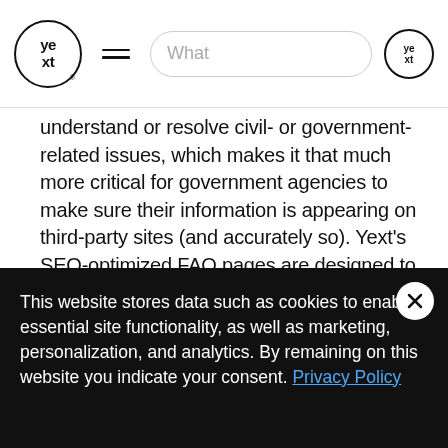Yext [logo] [hamburger menu] What [search] [Yext logo]
understand or resolve civil- or government-related issues, which makes it that much more critical for government agencies to make sure their information is appearing on third-party sites (and accurately so). Yext's SEO-optimized FAQ pages are designed to surface in search results, enabling agencies to extend their customer experience and answer constituent questions before they even
This website stores data such as cookies to enable essential site functionality, as well as marketing, personalization, and analytics. By remaining on this website you indicate your consent. Privacy Policy